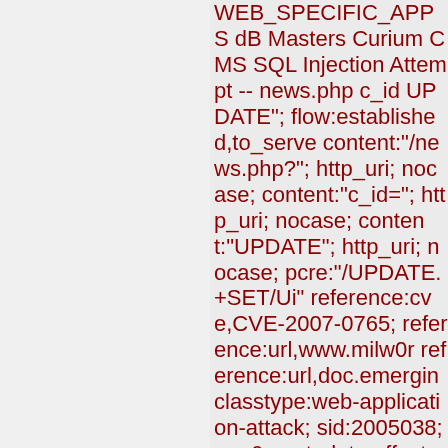WEB_SPECIFIC_APPS dB Masters Curium CMS SQL Injection Attempt -- news.php c_id UPDATE"; flow:established,to_server; content:"/news.php?"; http_uri; nocase; content:"c_id="; http_uri; nocase; content:"UPDATE"; http_uri; nocase; pcre:"/UPDATE.+SET/Ui"; reference:cve,CVE-2007-0765; reference:url,www.milw0r reference:url,doc.emergin classtype:web-application-attack; sid:2005038; rev:6; metadata:affected_produc Web_Server_Applications attack_target Web_Server